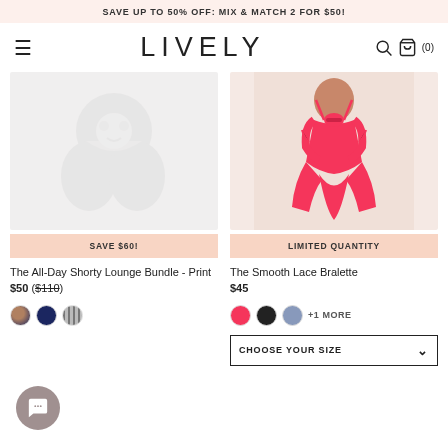SAVE UP TO 50% OFF: MIX & MATCH 2 FOR $50!
LIVELY
[Figure (photo): The All-Day Shorty Lounge Bundle Print product image placeholder with light floral pattern]
SAVE $60!
The All-Day Shorty Lounge Bundle - Print $50 ($110)
[Figure (photo): Woman wearing hot pink smooth lace bralette and matching bikini bottom against light background]
LIMITED QUANTITY
The Smooth Lace Bralette $45
CHOOSE YOUR SIZE